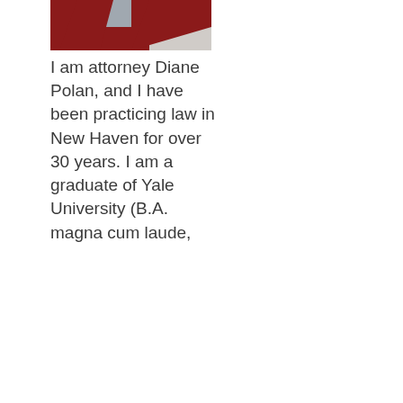[Figure (photo): Partial photo of attorney Diane Polan wearing a red/burgundy blazer, cropped at top of page]
I am attorney Diane Polan, and I have been practicing law in New Haven for over 30 years. I am a graduate of Yale University (B.A. magna cum laude, 1970)...